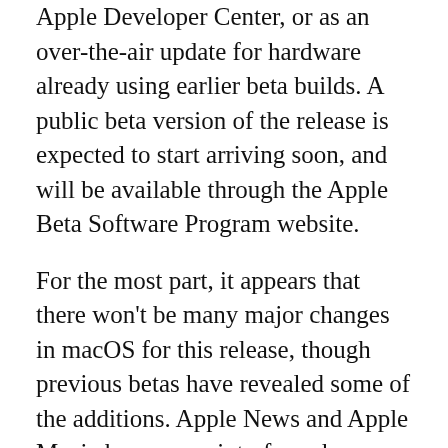Apple Developer Center, or as an over-the-air update for hardware already using earlier beta builds. A public beta version of the release is expected to start arriving soon, and will be available through the Apple Beta Software Program website.
For the most part, it appears that there won't be many major changes in macOS for this release, though previous betas have revealed some of the additions. Apple News and Apple Music have some interface changes, including new tabs and live events in the latter's Listen Now section.
The Reminders app has some updates to how it sorts items. The fifth beta also introduced controller emulation, allowing iOS and iPadOS